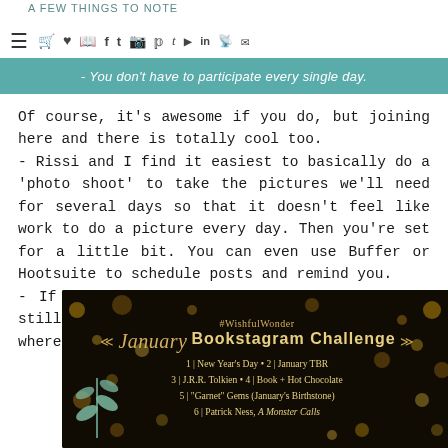A FEW THINGS TO NOTE
- You don't have to participate every single day.
Of course, it's awesome if you do, but joining here and there is totally cool too.
- Rissi and I find it easiest to basically do a 'photo shoot' to take the pictures we'll need for several days so that it doesn't feel like work to do a picture every day. Then you're set for a little bit. You can even use Buffer or Hootsuite to schedule posts and remind you.
- If you're not on Instagram, you can always still participate on Twitter or Facebook or wherever. :)
[Figure (infographic): #WishfulWonder January Bookstagram Challenge promotional image on dark background with bokeh gold lights, featuring challenge name, decorative arrows, and list of daily prompts including: 1 | New Year's Day • 2 | January TBR, 3 | J.R.R. Tolkien • 4 | Book + Hot Chocolate, 5 | 'Garnet' Gems (January's Birthstone), 6 | Patrick Ness, A Monster Calls]